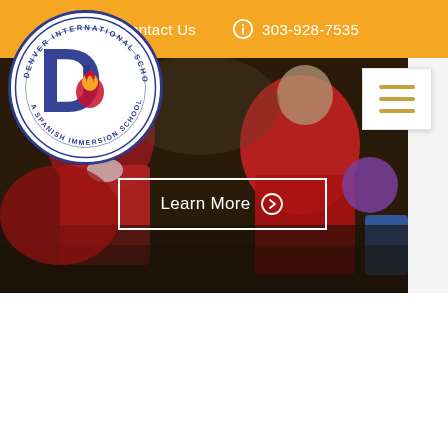Contact Us   303-928-7535
[Figure (logo): Denver International Schoolhouse – A Spanish Immersion School circular logo with blue and gold 'D' letters and a lion/bird emblem in the center]
[Figure (photo): Children in red uniforms engaged in classroom activity, hero banner image]
Learn More →